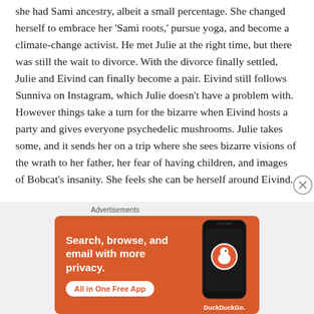she had Sami ancestry, albeit a small percentage. She changed herself to embrace her 'Sami roots,' pursue yoga, and become a climate-change activist. He met Julie at the right time, but there was still the wait to divorce. With the divorce finally settled, Julie and Eivind can finally become a pair. Eivind still follows Sunniva on Instagram, which Julie doesn't have a problem with. However things take a turn for the bizarre when Eivind hosts a party and gives everyone psychedelic mushrooms. Julie takes some, and it sends her on a trip where she sees bizarre visions of the wrath to her father, her fear of having children, and images of Bobcat's insanity. She feels she can be herself around Eivind.
Advertisements
[Figure (infographic): DuckDuckGo advertisement banner with orange background. Left side shows bold white text: 'Search, browse, and email with more privacy.' with a white pill-shaped button 'All in One Free App'. Right side shows a dark smartphone with the DuckDuckGo duck logo and 'DuckDuckGo.' text beneath.]